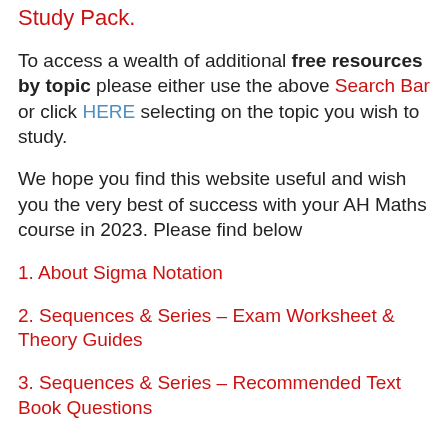Study Pack.
To access a wealth of additional free resources by topic please either use the above Search Bar or click HERE selecting on the topic you wish to study.
We hope you find this website useful and wish you the very best of success with your AH Maths course in 2023. Please find below
1. About Sigma Notation
2. Sequences & Series – Exam Worksheet & Theory Guides
3. Sequences & Series – Recommended Text Book Questions